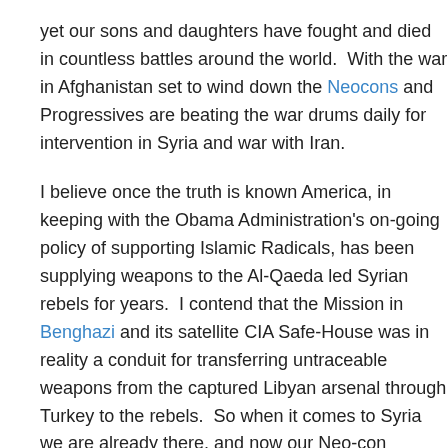yet our sons and daughters have fought and died in countless battles around the world.  With the war in Afghanistan set to wind down the Neocons and Progressives are beating the war drums daily for intervention in Syria and war with Iran.
I believe once the truth is known America, in keeping with the Obama Administration's on-going policy of supporting Islamic Radicals, has been supplying weapons to the Al-Qaeda led Syrian rebels for years.  I contend that the Mission in Benghazi and its satellite CIA Safe-House was in reality a conduit for transferring untraceable weapons from the captured Libyan arsenal through Turkey to the rebels.  So when it comes to Syria we are already there, and now our Neo-con cheerleaders want us to directly intervene.